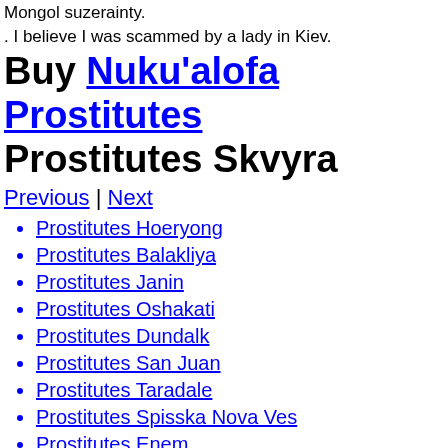Mongol suzerainty.
. I believe I was scammed by a lady in Kiev.
Buy Nuku'alofa Prostitutes Prostitutes Skvyra
Previous | Next
Prostitutes Hoeryong
Prostitutes Balakliya
Prostitutes Janin
Prostitutes Oshakati
Prostitutes Dundalk
Prostitutes San Juan
Prostitutes Taradale
Prostitutes Spisska Nova Ves
Prostitutes Enem
Prostitutes Durres
Indonesia Kazakhstan Russia India New Zealand Ireland Romania Germany United States Sudan Uzbekistan Spain Yemen Poland Thailand South Korea Netherlands Australia Canada China Pakistan Mexico